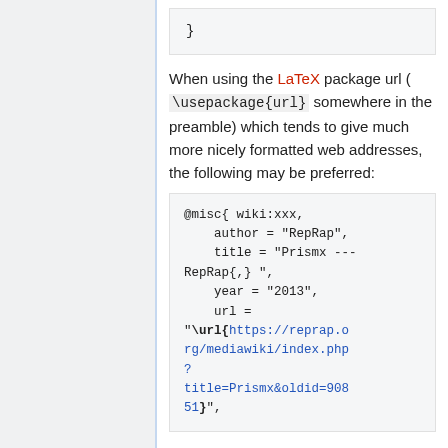}
When using the LaTeX package url ( \usepackage{url} somewhere in the preamble) which tends to give much more nicely formatted web addresses, the following may be preferred:
@misc{ wiki:xxx,
    author = "RepRap",
    title = "Prismx --- RepRap{,} ",
    year = "2013",
    url =
"\url{https://reprap.org/mediawiki/index.php?title=Prismx&oldid=90851}",